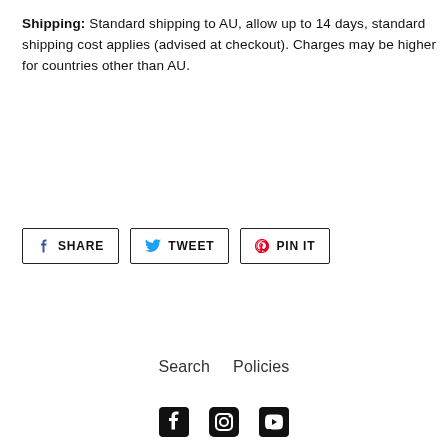Shipping: Standard shipping to AU, allow up to 14 days, standard shipping cost applies (advised at checkout). Charges may be higher for countries other than AU.
[Figure (infographic): Social sharing buttons: Facebook SHARE, Twitter TWEET, Pinterest PIN IT]
Search   Policies
[Figure (infographic): Social media icons: Facebook, Instagram, YouTube]